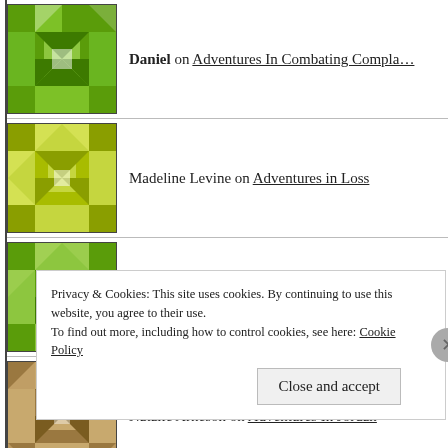Daniel on Adventures In Combating Compla…
Madeline Levine on Adventures in Loss
Madeline on Adventures In Voting In The 20…
Natalie Arneson on Adventures In Jordan
Privacy & Cookies: This site uses cookies. By continuing to use this website, you agree to their use.
To find out more, including how to control cookies, see here: Cookie Policy
Close and accept